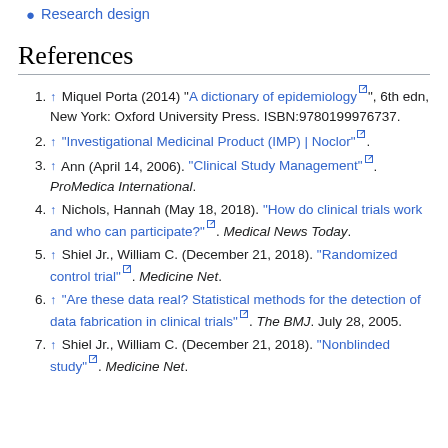Research design
References
↑ Miquel Porta (2014) "A dictionary of epidemiology", 6th edn, New York: Oxford University Press. ISBN:9780199976737.
↑ "Investigational Medicinal Product (IMP) | Noclor".
↑ Ann (April 14, 2006). "Clinical Study Management". ProMedica International.
↑ Nichols, Hannah (May 18, 2018). "How do clinical trials work and who can participate?". Medical News Today.
↑ Shiel Jr., William C. (December 21, 2018). "Randomized control trial". Medicine Net.
↑ "Are these data real? Statistical methods for the detection of data fabrication in clinical trials". The BMJ. July 28, 2005.
↑ Shiel Jr., William C. (December 21, 2018). "Nonblinded study". Medicine Net.